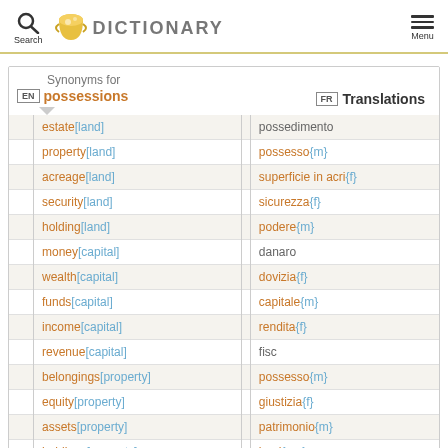Search | DICTIONARY | Menu
| EN | Synonyms for possessions | FR | Translations |
| --- | --- | --- | --- |
| estate[land] | possedimento |
| property[land] | possesso{m} |
| acreage[land] | superficie in acri{f} |
| security[land] | sicurezza{f} |
| holding[land] | podere{m} |
| money[capital] | danaro |
| wealth[capital] | dovizia{f} |
| funds[capital] | capitale{m} |
| income[capital] | rendita{f} |
| revenue[capital] | fisc |
| belongings[property] | possesso{m} |
| equity[property] | giustizia{f} |
| assets[property] | patrimonio{m} |
| holdings[property] | beni{mp} |